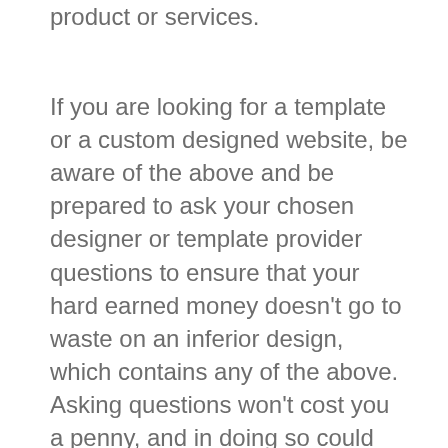product or services.
If you are looking for a template or a custom designed website, be aware of the above and be prepared to ask your chosen designer or template provider questions to ensure that your hard earned money doesn't go to waste on an inferior design, which contains any of the above. Asking questions won't cost you a penny, and in doing so could actually save you a lot of money over the long term. Getting your website right first time is vital in terms of saving money and time. The earlier your website is up and running properly, the quicker you